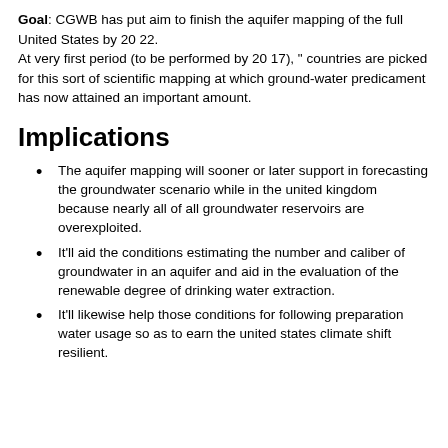Goal: CGWB has put aim to finish the aquifer mapping of the full United States by 20 22. At very first period (to be performed by 20 17), " countries are picked for this sort of scientific mapping at which ground-water predicament has now attained an important amount.
Implications
The aquifer mapping will sooner or later support in forecasting the groundwater scenario while in the united kingdom because nearly all of all groundwater reservoirs are overexploited.
It'll aid the conditions estimating the number and caliber of groundwater in an aquifer and aid in the evaluation of the renewable degree of drinking water extraction.
It'll likewise help those conditions for following preparation water usage so as to earn the united states climate shift resilient.